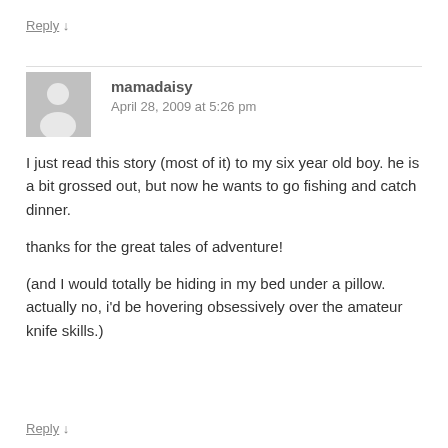Reply ↓
mamadaisy
April 28, 2009 at 5:26 pm
I just read this story (most of it) to my six year old boy. he is a bit grossed out, but now he wants to go fishing and catch dinner.

thanks for the great tales of adventure!

(and I would totally be hiding in my bed under a pillow. actually no, i'd be hovering obsessively over the amateur knife skills.)
Reply ↓